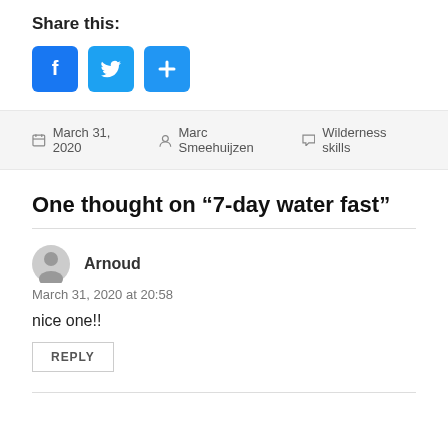Share this:
[Figure (other): Three social share buttons: Facebook (blue with f icon), Twitter (light blue with bird icon), and a blue More/Add button with plus icon]
March 31, 2020   Marc Smeehuijzen   Wilderness skills
One thought on “7-day water fast”
Arnoud
March 31, 2020 at 20:58
nice one!!
REPLY